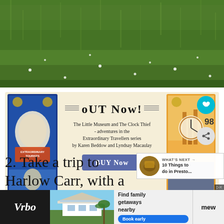[Figure (photo): Close-up photograph of green grass lawn with small white daisies/flowers scattered throughout]
[Figure (infographic): Advertisement banner with cream/beige background. Shows two children's book covers. Center text reads 'OUT NOW! The Little Museum and The Clock Thief - adventures in the Extraordinary Travellers series by Karen Beddow and Lyndsay Macaulay' with a 'BUY NOW' button. Social interaction icons (heart, share) visible on right side with number 98.]
2. Take a trip to Harlow Carr, with a treehouse, three separate park areas and pl...mew
[Figure (infographic): WHAT'S NEXT → 10 Things to do in Presto... thumbnail with circular image]
[Figure (infographic): Vrbo advertisement banner at bottom showing a beach house, text 'Find family getaways nearby' with 'Book early' button]